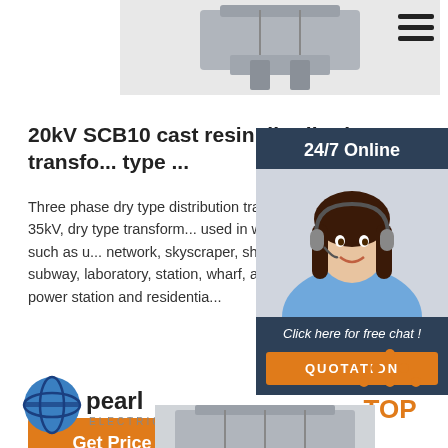[Figure (photo): Partial view of a transformer equipment at the top of the page]
[Figure (screenshot): Hamburger menu icon (three horizontal lines) in top right corner]
20kV SCB10 cast resin distribution transfo... type ...
Three phase dry type distribution transfo... voltage during 6-35kV, dry type transform... used in widely used in the space such as u... network, skyscraper, shopping center, ho... subway, laboratory, station, wharf, airport... distribution power station and residentia...
[Figure (photo): 24/7 Online chat support panel showing a woman with headset, dark blue background, with 'Click here for free chat!' text and QUOTATION button]
[Figure (logo): Pearl Electric company logo with blue sphere icon]
[Figure (infographic): TOP button with orange dots arranged in triangle above the letters TOP in orange]